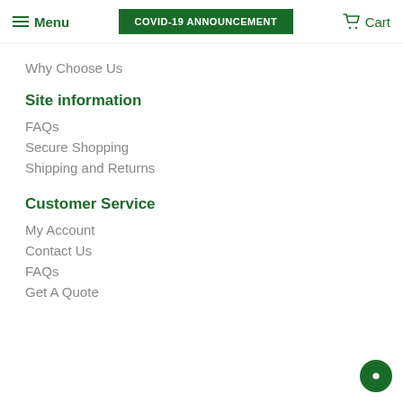Menu  COVID-19 ANNOUNCEMENT  Cart
Why Choose Us
Site information
FAQs
Secure Shopping
Shipping and Returns
Customer Service
My Account
Contact Us
FAQs
Get A Quote